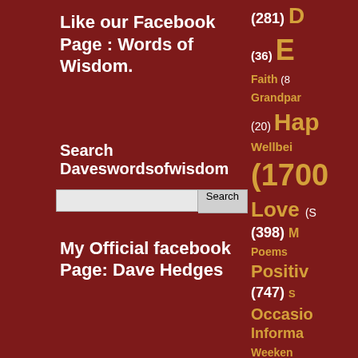Like our Facebook Page : Words of Wisdom.
Search Daveswordsofwisdom
Search [input field]
My Official facebook Page: Dave Hedges
(281) D (36) E Faith (8 Grandpar (20) Hap Wellbei (1700 Love (5 (398) M Poems Positiv (747) s Occasio Informa Weeken Zodiac (4